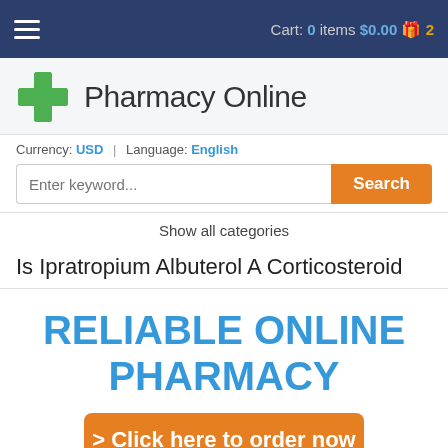Cart: 0 items $0.00  2
Pharmacy Online
Currency: USD | Language: English
Enter keyword...
Show all categories
Is Ipratropium Albuterol A Corticosteroid
RELIABLE ONLINE PHARMACY
> Click here to order now